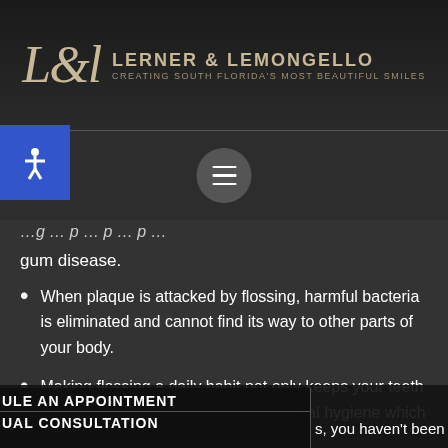LERNER & LEMONGELLO — CREATING SOUTH FLORIDA'S MOST BEAUTIFUL SMILES
gum disease.
When plaque is attacked by flossing, harmful bacteria is eliminated and cannot find its way to other parts of your body.
Making flossing a daily habit not only keeps your teeth healthy but it contributes to good dental hygiene which is an essential part of your overall
ULE AN APPOINTMENT
s, you haven't been
UAL CONSULTATION